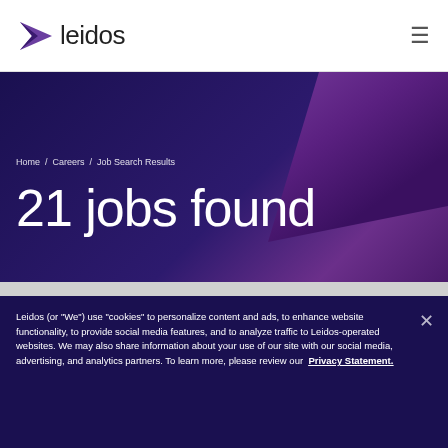leidos
Home / Careers / Job Search Results
21 jobs found
Leidos (or “We”) use “cookies” to personalize content and ads, to enhance website functionality, to provide social media features, and to analyze traffic to Leidos-operated websites. We may also share information about your use of our site with our social media, advertising, and analytics partners. To learn more, please review our Privacy Statement.